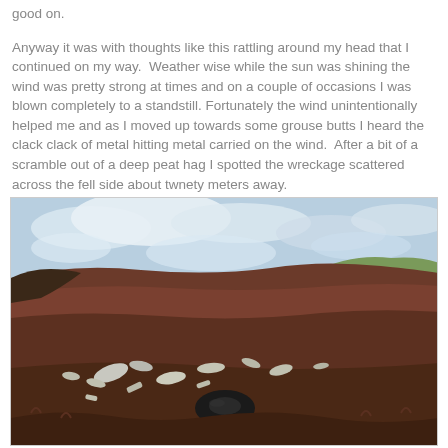good on.

Anyway it was with thoughts like this rattling around my head that I continued on my way.  Weather wise while the sun was shining the wind was pretty strong at times and on a couple of occasions I was blown completely to a standstill.  Fortunately the wind unintentionally helped me and as I moved up towards some grouse butts I heard the clack clack of metal hitting metal carried on the wind.  After a bit of a scramble out of a deep peat hag I spotted the wreckage scattered across the fell side about twnety meters away.
[Figure (photo): A moorland landscape with heather-covered hillside under a partly cloudy sky. Scattered white debris (wreckage) and a black rubber tyre are visible on the ground among the heather.]